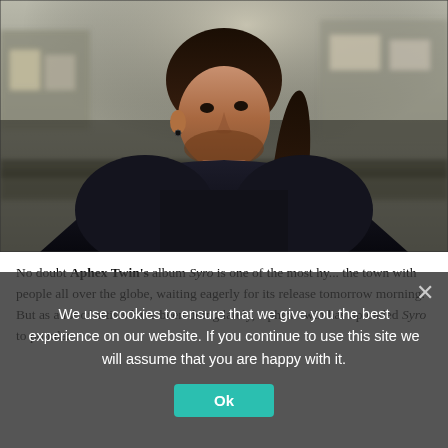[Figure (photo): Photo of a man with long dark hair pulled back, beard stubble, wearing a dark navy/black t-shirt. Background is blurred urban/outdoor scene with structures visible. The photo is shot in a slightly desaturated, moody style.]
No doubt Aphex Twin's album Syro is one of the most hy... the town with people all over the globe, waiting eagerly for its release tomorrow morning. But as a lot of artists have been doing lately, Aphex Twin has uploaded Syro to popular
We use cookies to ensure that we give you the best experience on our website. If you continue to use this site we will assume that you are happy with it.